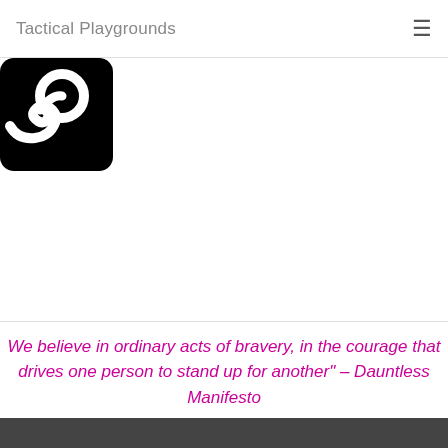Tactical Playgrounds
[Figure (logo): Steam logo — white steam swirl icon on black rounded-square background]
We believe in ordinary acts of bravery, in the courage that drives one person to stand up for another" – Dauntless Manifesto